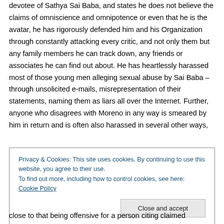devotee of Sathya Sai Baba, and states he does not believe the claims of omniscience and omnipotence or even that he is the avatar, he has rigorously defended him and his Organization through constantly attacking every critic, and not only them but any family members he can track down, any friends or associates he can find out about. He has heartlessly harassed most of those young men alleging sexual abuse by Sai Baba – through unsolicited e-mails, misrepresentation of their statements, naming them as liars all over the Internet. Further, anyone who disagrees with Moreno in any way is smeared by him in return and is often also harassed in several other ways,
Privacy & Cookies: This site uses cookies. By continuing to use this website, you agree to their use.
To find out more, including how to control cookies, see here: Cookie Policy
Close and accept
close to that being offensive for a person citing claimed